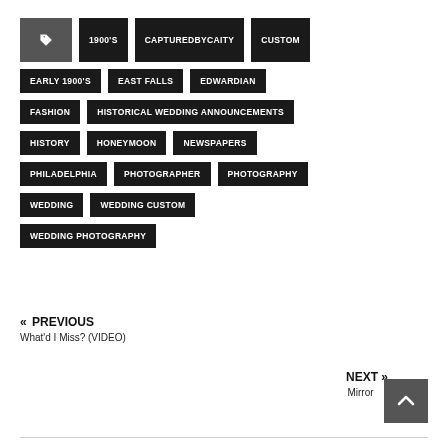1900'S
CAPTUREDBYCAITY
CUSTOM
EARLY 1900'S
EAST FALLS
EDWARDIAN
FASHION
HISTORICAL WEDDING ANNOUNCEMENTS
HISTORY
HONEYMOON
NEWSPAPERS
PHILADELPHIA
PHOTOGRAPHER
PHOTOGRAPHY
WEDDING
WEDDING CUSTOM
WEDDING PHOTOGRAPHY
« PREVIOUS
What'd I Miss? (VIDEO)
NEXT »
Mirror...r